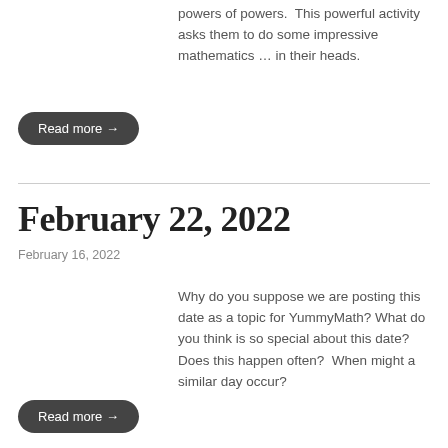powers of powers.  This powerful activity asks them to do some impressive mathematics … in their heads.
Read more →
February 22, 2022
February 16, 2022
Why do you suppose we are posting this date as a topic for YummyMath? What do you think is so special about this date?  Does this happen often?  When might a similar day occur?
Read more →